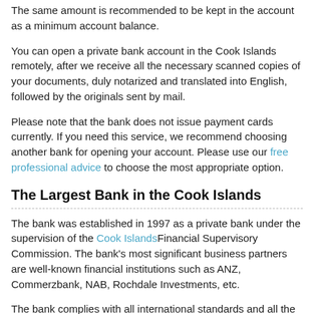The same amount is recommended to be kept in the account as a minimum account balance.
You can open a private bank account in the Cook Islands remotely, after we receive all the necessary scanned copies of your documents, duly notarized and translated into English, followed by the originals sent by mail.
Please note that the bank does not issue payment cards currently. If you need this service, we recommend choosing another bank for opening your account. Please use our free professional advice to choose the most appropriate option.
The Largest Bank in the Cook Islands
The bank was established in 1997 as a private bank under the supervision of the Cook Islands Financial Supervisory Commission. The bank's most significant business partners are well-known financial institutions such as ANZ, Commerzbank, NAB, Rochdale Investments, etc.
The bank complies with all international standards and all the procedures stipulated in the measures taken to combat money